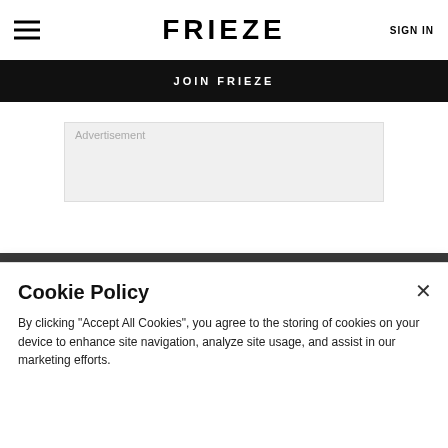FRIEZE | SIGN IN
JOIN FRIEZE
[Figure (other): Advertisement placeholder box]
IN FRIEZE | 29 FEB 12
[Figure (other): Social media icons: Twitter, Facebook, Pinterest, Email]
Cookie Policy
By clicking "Accept All Cookies", you agree to the storing of cookies on your device to enhance site navigation, analyze site usage, and assist in our marketing efforts.